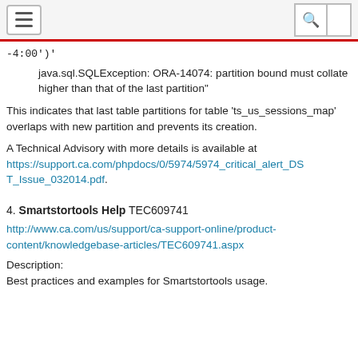navigation header with hamburger menu and search icon
-4:00')
java.sql.SQLException: ORA-14074: partition bound must collate higher than that of the last partition"
This indicates that last table partitions for table 'ts_us_sessions_map' overlaps with new partition and prevents its creation.
A Technical Advisory with more details is available at https://support.ca.com/phpdocs/0/5974/5974_critical_alert_DST_Issue_032014.pdf.
4. Smartstortools Help TEC609741
http://www.ca.com/us/support/ca-support-online/product-content/knowledgebase-articles/TEC609741.aspx
Description:
Best practices and examples for Smartstortools usage.